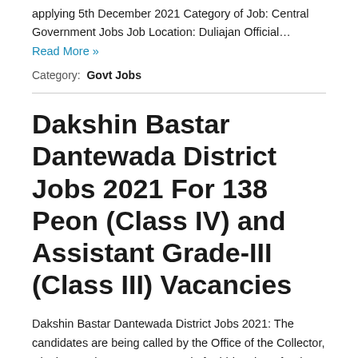applying 5th December 2021 Category of Job: Central Government Jobs Job Location: Duliajan Official…
Read More »
Category: Govt Jobs
Dakshin Bastar Dantewada District Jobs 2021 For 138 Peon (Class IV) and Assistant Grade-III (Class III) Vacancies
Dakshin Bastar Dantewada District Jobs 2021: The candidates are being called by the Office of the Collector, District South Bastar Dantewada for hiring them for the 138 vacancies for Peon (Class IV) and Assistant Grade-III (Class III)  posts. The information related to the recruitment such as educational qualifications, salary, age